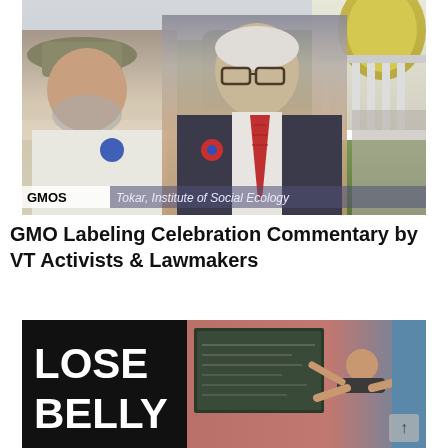[Figure (photo): Two men standing outdoors in front of a government building with columns (likely the Vermont State House). The man on the left wears a hat and t-shirt with a campaign button; the man on the right wears a suit and tie with glasses and a campaign button. A caption overlay reads 'Brian Tokar, Institute of Social Ecology' and 'GMOS' label in the lower-left corner.]
GMO Labeling Celebration Commentary by VT Activists & Lawmakers
[Figure (screenshot): A cropped screenshot of a video or webpage showing the text 'LOSE BELLY' in large white bold letters on a black background on the left side, and on the right side a person performing an exercise in front of a pink/red wall with a chalkboard. A scroll-up arrow icon is visible in the bottom right.]